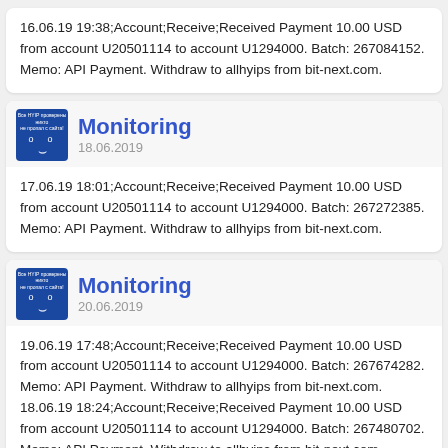16.06.19 19:38;Account;Receive;Received Payment 10.00 USD from account U20501114 to account U1294000. Batch: 267084152. Memo: API Payment. Withdraw to allhyips from bit-next.com.
Monitoring 18.06.2019
17.06.19 18:01;Account;Receive;Received Payment 10.00 USD from account U20501114 to account U1294000. Batch: 267272385. Memo: API Payment. Withdraw to allhyips from bit-next.com.
Monitoring 20.06.2019
19.06.19 17:48;Account;Receive;Received Payment 10.00 USD from account U20501114 to account U1294000. Batch: 267674282. Memo: API Payment. Withdraw to allhyips from bit-next.com. 18.06.19 18:24;Account;Receive;Received Payment 10.00 USD from account U20501114 to account U1294000. Batch: 267480702. Memo: API Payment. Withdraw to allhyips from bit-next.com.
Monitoring